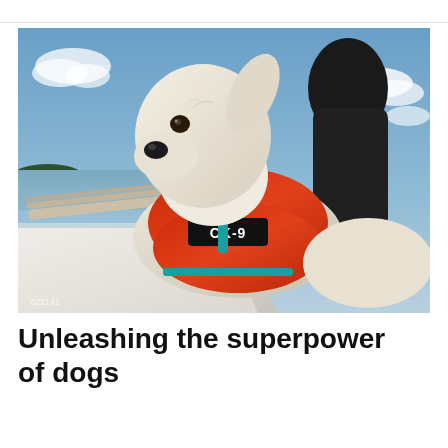[Figure (photo): A white dog wearing a red CK-9 vest/harness, standing on the bow of a boat, looking forward. Blue sky with clouds in the background, water and treeline visible on the left. A person in dark clothing is partially visible behind the dog.]
Unleashing the superpower of dogs